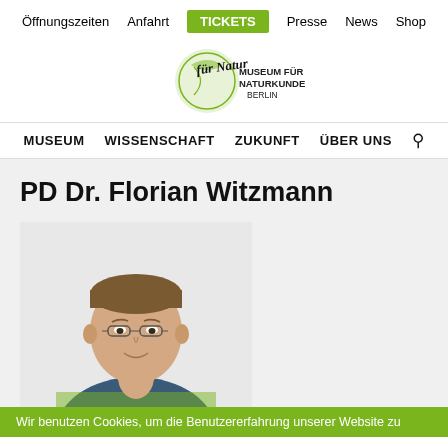Öffnungszeiten  Anfahrt  TICKETS  Presse  News  Shop
[Figure (logo): Museum für Naturkunde Berlin logo with handwritten script 'für Natur' and green circular emblem]
MUSEUM  WISSENSCHAFT  ZUKUNFT  ÜBER UNS
PD Dr. Florian Witzmann
[Figure (photo): Portrait photo of PD Dr. Florian Witzmann, a middle-aged man with glasses and short brown hair, wearing a blue and green striped shirt, smiling at camera]
Wir benutzen Cookies, um die Benutzererfahrung unserer Website zu